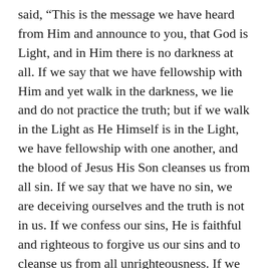said, “This is the message we have heard from Him and announce to you, that God is Light, and in Him there is no darkness at all. If we say that we have fellowship with Him and yet walk in the darkness, we lie and do not practice the truth; but if we walk in the Light as He Himself is in the Light, we have fellowship with one another, and the blood of Jesus His Son cleanses us from all sin. If we say that we have no sin, we are deceiving ourselves and the truth is not in us. If we confess our sins, He is faithful and righteous to forgive us our sins and to cleanse us from all unrighteousness. If we say that we have not sinned, we make Him a liar and His word is not in us.” (1 John 1:5–10)
Yes God is love and He loves you, but that is an invitation to be in a relationship with Him, not a bumper sticker for your car or a placard to raise at a